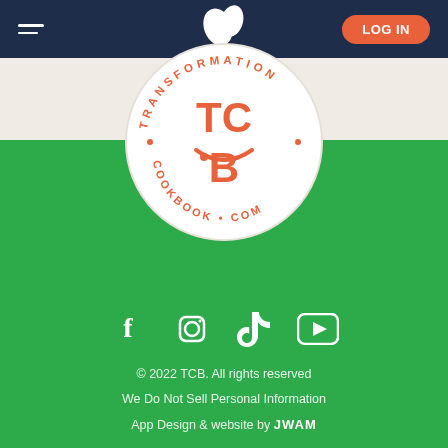[Figure (logo): Navigation bar with hamburger menu icon on left, stylized bee/leaf logo in center, and orange LOG IN button on right, on dark navy background]
[Figure (logo): Circular TCB logo - Transformation Cookbook .com - with coral/salmon text on white circle background, centered overlapping the cream and green sections]
[Figure (infographic): Row of four white social media icons: Facebook, Instagram, TikTok, YouTube]
© 2022 TCB. All rights reserved
We Do Not Sell Personal Information
App Design & website by JWAM